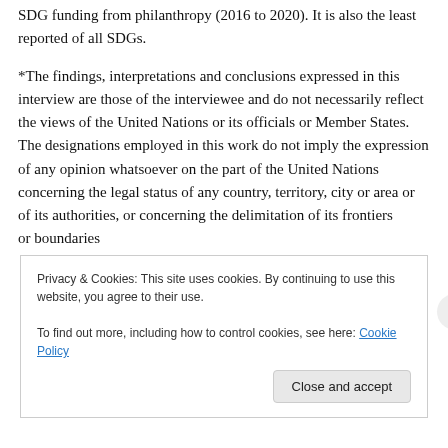SDG funding from philanthropy (2016 to 2020). It is also the least reported of all SDGs.
*The findings, interpretations and conclusions expressed in this interview are those of the interviewee and do not necessarily reflect the views of the United Nations or its officials or Member States. The designations employed in this work do not imply the expression of any opinion whatsoever on the part of the United Nations concerning the legal status of any country, territory, city or area or of its authorities, or concerning the delimitation of its frontiers or boundaries
Privacy & Cookies: This site uses cookies. By continuing to use this website, you agree to their use.
To find out more, including how to control cookies, see here: Cookie Policy